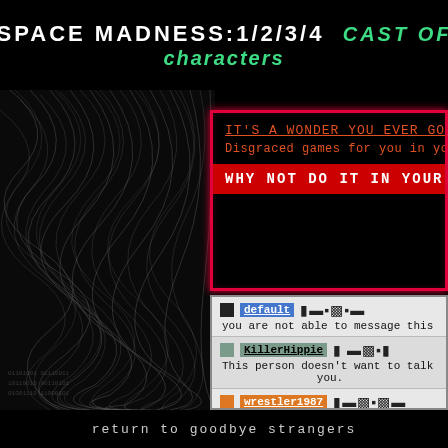SPACE MADNESS:1/2/3/4  cast of characters
[Figure (illustration): Black and white swirling abstract pattern with distorted lines on the left side of the page]
IT'S A WONDER YOU EVER GOT SO CLO...
Disgraced games for you in your "recover...
WHY NOT DO IT IN YOUR MI...
default  — you are not able to message this ...
KillerHippie — This person doesn't want to talk... you.
wrestler1987 — you have been blocked by this us...
Xanadu_Xori
return to goodbye strangers